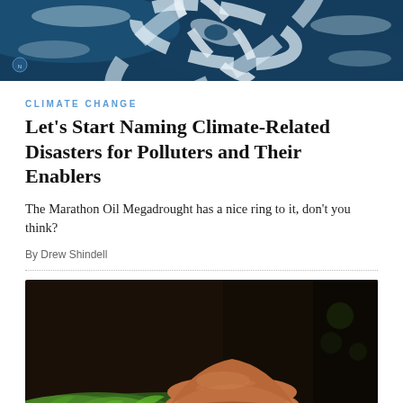[Figure (photo): Aerial satellite view of a hurricane swirling over dark blue ocean water]
CLIMATE CHANGE
Let's Start Naming Climate-Related Disasters for Polluters and Their Enablers
The Marathon Oil Megadrought has a nice ring to it, don't you think?
By Drew Shindell
[Figure (photo): Close-up photograph of brown mushrooms growing among bright green moss in a dark forest setting]